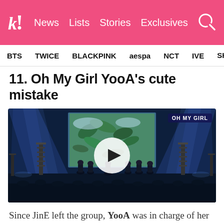k! News Lists Stories Exclusives
BTS TWICE BLACKPINK aespa NCT IVE SHINE
11. Oh My Girl YooA's cute mistake
[Figure (screenshot): Video thumbnail of Oh My Girl concert on stage with blue stage lighting, screen showing tropical leaves background, play button overlay, OH MY GIRL badge in top right corner]
Since JinE left the group, YooA was in charge of her part but there was one time that she